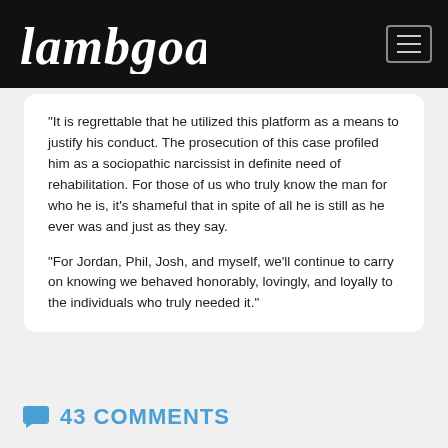Lambgoat
"It is regrettable that he utilized this platform as a means to justify his conduct. The prosecution of this case profiled him as a sociopathic narcissist in definite need of rehabilitation. For those of us who truly know the man for who he is, it's shameful that in spite of all he is still as he ever was and just as they say.
"For Jordan, Phil, Josh, and myself, we'll continue to carry on knowing we behaved honorably, lovingly, and loyally to the individuals who truly needed it."
43 COMMENTS